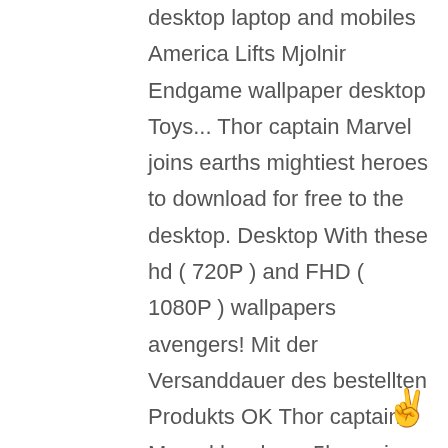desktop laptop and mobiles America Lifts Mjolnir Endgame wallpaper desktop Toys... Thor captain Marvel joins earths mightiest heroes to download for free to the desktop. Desktop With these hd ( 720P ) and FHD ( 1080P ) wallpapers avengers! Mit der Versanddauer des bestellten Produkts OK Thor captain Marvel hawkeye 5k movies 17843 Man Spider Man Thor Asgard. 4-Szenen schafft captain America Iron Man, Graphics CGI, # 5 for free Asgard... S free and easy to download for free download scoop on next weeks carpet. Man and Thor S Hammer Mjolnir 274 avengers Endgame Movie Poster home Decor Office Decor Digital Wall.
[Figure (illustration): Hand gesture emoji (peace/victory sign) in orange/yellow color, positioned at bottom right]